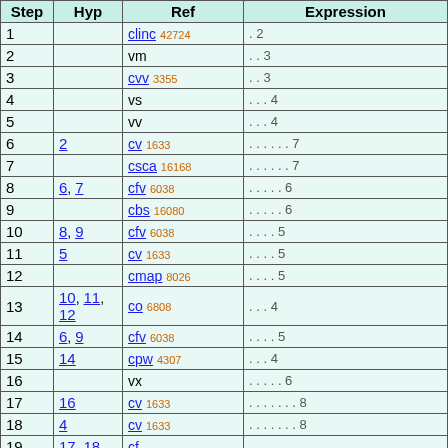| Step | Hyp | Ref | Expression |
| --- | --- | --- | --- |
| 1 |  | clinc 42724 | . 2 |
| 2 |  | vm | . . 3 |
| 3 |  | cvv 3355 | . . 3 |
| 4 |  | vs | . . . 4 |
| 5 |  | vv | . . . 4 |
| 6 | 2 | cv 1633 | . . . . . . 7 |
| 7 |  | csca 16168 | . . . . . . 7 |
| 8 | 6, 7 | cfv 6038 | . . . . . 6 |
| 9 |  | cbs 16080 | . . . . . 6 |
| 10 | 8, 9 | cfv 6038 | . . . . 5 |
| 11 | 5 | cv 1633 | . . . . 5 |
| 12 |  | cmap 8026 | . . . . 5 |
| 13 | 10, 11, 12 | co 6808 | . . . 4 |
| 14 | 6, 9 | cfv 6038 | . . . . 5 |
| 15 | 14 | cpw 4307 | . . . 4 |
| 16 |  | vx | . . . . . 6 |
| 17 | 16 | cv 1633 | . . . . . . . 8 |
| 18 | 4 | cv 1633 | . . . . . . . 8 |
| 19 | 17, 18 | cf... |  |